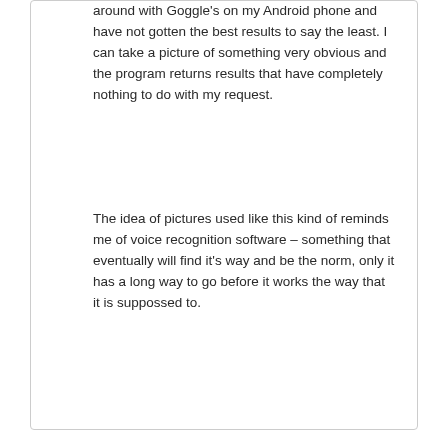around with Goggle's on my Android phone and have not gotten the best results to say the least. I can take a picture of something very obvious and the program returns results that have completely nothing to do with my request.
The idea of pictures used like this kind of reminds me of voice recognition software – something that eventually will find it's way and be the norm, only it has a long way to go before it works the way that it is suppossed to.